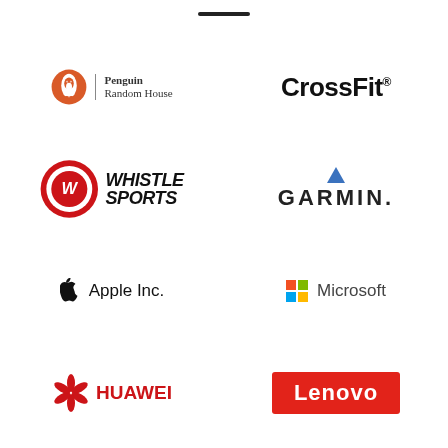[Figure (logo): Penguin Random House logo with penguin icon and text]
[Figure (logo): CrossFit logo in bold black text]
[Figure (logo): Whistle Sports logo with red circular icon and bold italic text]
[Figure (logo): Garmin logo with blue triangle and bold text]
[Figure (logo): Apple Inc. logo with apple icon and text]
[Figure (logo): Microsoft logo with colorful Windows flag icon and text]
[Figure (logo): Huawei logo with red petal icon and red text]
[Figure (logo): Lenovo logo white text on red background]